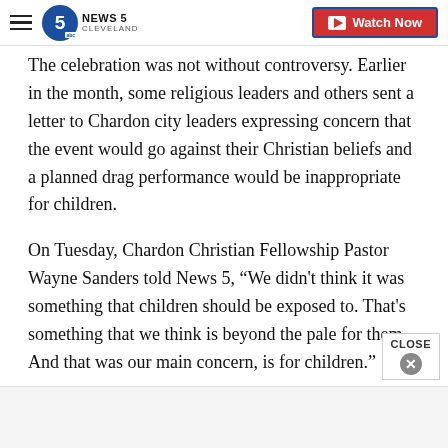News 5 Cleveland — Watch Now
The celebration was not without controversy. Earlier in the month, some religious leaders and others sent a letter to Chardon city leaders expressing concern that the event would go against their Christian beliefs and a planned drag performance would be inappropriate for children.
On Tuesday, Chardon Christian Fellowship Pastor Wayne Sanders told News 5, “We didn't think it was something that children should be exposed to. That's something that we think is beyond the pale for them. And that was our main concern, is for children.”